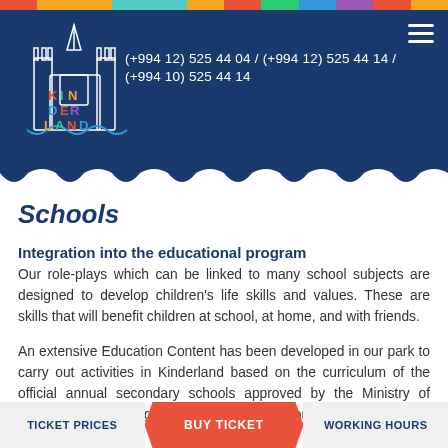(+994 12) 525 44 04 / (+994 12) 525 44 14 / (+994 10) 525 44 14
Schools
Integration into the educational program
Our role-plays which can be linked to many school subjects are designed to develop children's life skills and values. These are skills that will benefit children at school, at home, and with friends.
An extensive Education Content has been developed in our park to carry out activities in Kinderland based on the curriculum of the official annual secondary schools approved by the Ministry of Education. This program is an ide... that is...